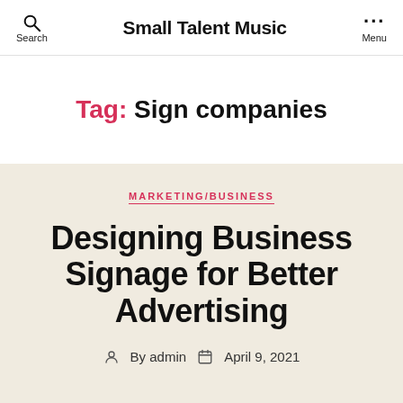Small Talent Music | Search | Menu
Tag: Sign companies
MARKETING/BUSINESS
Designing Business Signage for Better Advertising
By admin  April 9, 2021